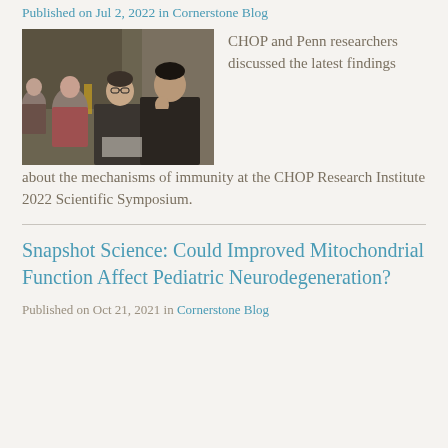Published on Jul 2, 2022 in Cornerstone Blog
[Figure (photo): Researchers seated at a panel discussion, a man in glasses in the foreground with hand raised near face, others in background]
CHOP and Penn researchers discussed the latest findings about the mechanisms of immunity at the CHOP Research Institute 2022 Scientific Symposium.
Snapshot Science: Could Improved Mitochondrial Function Affect Pediatric Neurodegeneration?
Published on Oct 21, 2021 in Cornerstone Blog